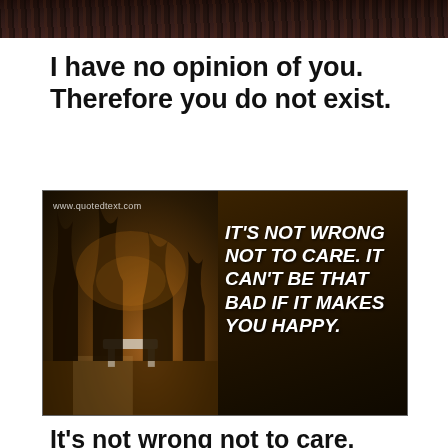[Figure (photo): Dark outdoor night photo strip at top of page showing trees and dark sky]
I have no opinion of you. Therefore you do not exist.
[Figure (photo): Night outdoor scene with trees and warm orange glow on left half; dark right half with white bold italic text reading: IT'S NOT WRONG NOT TO CARE. IT CAN'T BE THAT BAD IF IT MAKES YOU HAPPY. Watermark: www.quotedtext.com]
It's not wrong not to care.